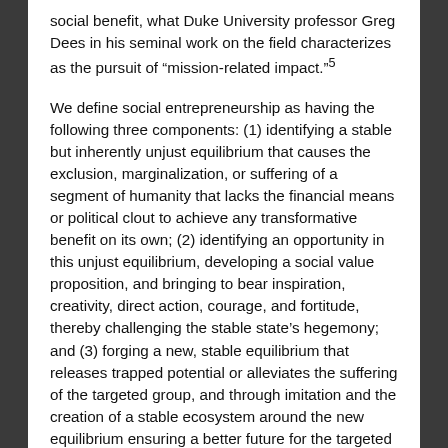social benefit, what Duke University professor Greg Dees in his seminal work on the field characterizes as the pursuit of "mission-related impact."5
We define social entrepreneurship as having the following three components: (1) identifying a stable but inherently unjust equilibrium that causes the exclusion, marginalization, or suffering of a segment of humanity that lacks the financial means or political clout to achieve any transformative benefit on its own; (2) identifying an opportunity in this unjust equilibrium, developing a social value proposition, and bringing to bear inspiration, creativity, direct action, courage, and fortitude, thereby challenging the stable state's hegemony; and (3) forging a new, stable equilibrium that releases trapped potential or alleviates the suffering of the targeted group, and through imitation and the creation of a stable ecosystem around the new equilibrium ensuring a better future for the targeted group and even society at large.
Muhammad Yunus, founder of the Grameen Bank and father of microcredit, provides a classic example of social entrepreneurship. The stable but unfortunate equilibrium...